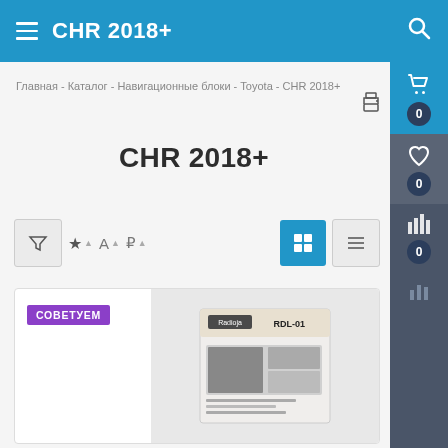CHR 2018+
Главная - Каталог - Навигационные блоки - Toyota - CHR 2018+
CHR 2018+
Filter / sort controls: funnel icon, star sort, A sort, price sort, grid view, list view
[Figure (screenshot): Product listing card with СОВЕТУЕМ badge and product photo of RDL-01 navigation block in box]